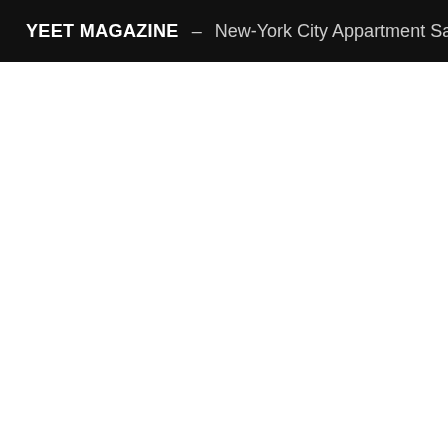YEET MAGAZINE – New-York City Appartment Sales I...